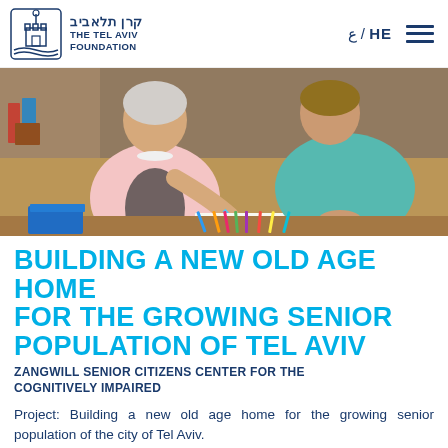קרן תל-אביב / THE TEL AVIV FOUNDATION | ع / HE
[Figure (photo): Two elderly women sitting at a table, one writing with a pencil, colored pencils and books on the table]
BUILDING A NEW OLD AGE HOME FOR THE GROWING SENIOR POPULATION OF TEL AVIV
ZANGWILL SENIOR CITIZENS CENTER FOR THE COGNITIVELY IMPAIRED
Project: Building a new old age home for the growing senior population of the city of Tel Aviv.